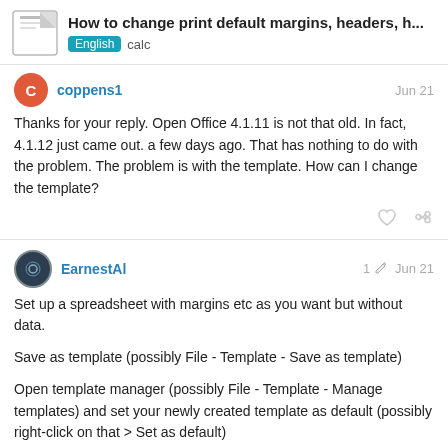How to change print default margins, headers, h...
coppens1  Jun 21
Thanks for your reply. Open Office 4.1.11 is not that old. In fact, 4.1.12 just came out. a few days ago. That has nothing to do with the problem. The problem is with the template. How can I change the template?
EarnestAl  1  Jun 21
Set up a spreadsheet with margins etc as you want but without data.
Save as template (possibly File - Template - Save as template)
Open template manager (possibly File - Template - Manage templates) and set your newly created template as default (possibly right-click on that > Set as default)